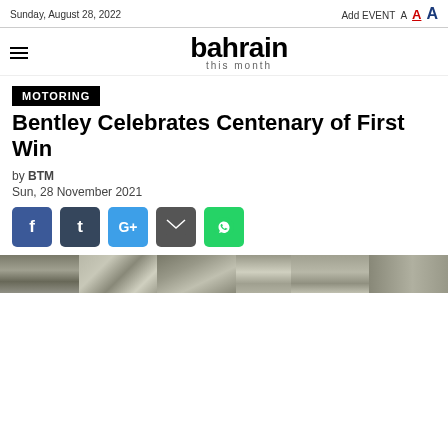Sunday, August 28, 2022 | Add EVENT A A A
bahrain this month
MOTORING
Bentley Celebrates Centenary of First Win
by BTM
Sun, 28 November 2021
[Figure (photo): Black and white historic photo strip showing multiple vintage scenes related to Bentley's first win centenary]
[Figure (screenshot): Social media share buttons: Facebook, Tumblr, Google+, Email, WhatsApp]